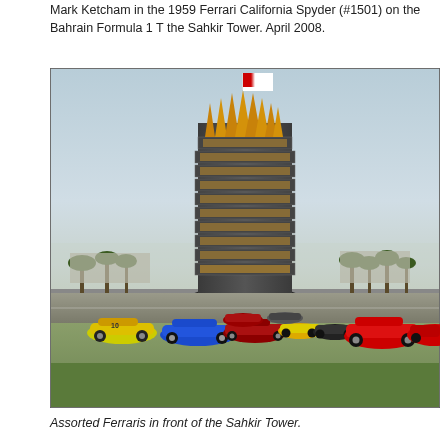Mark Ketcham in the 1959 Ferrari California Spyder (#1501) on the Bahrain Formula 1 T the Sahkir Tower. April 2008.
[Figure (photo): A group of vintage and classic Ferrari sports cars parked on a racing circuit in front of the Sahkir Tower (Bahrain International Circuit control tower), a multi-story circular building with golden crown-like spires at the top and a Bahrain flag flying above. Palm trees and grandstands are visible in the background. Cars include yellow, blue, red, and other colored Ferraris.]
Assorted Ferraris in front of the Sahkir Tower.